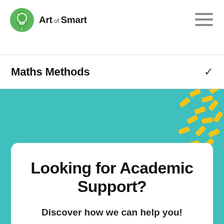[Figure (logo): Art of Smart logo — green leaf with lightbulb icon and text 'Art of Smart']
Maths Methods
[Figure (illustration): Teal/turquoise background banner with yellow confetti dashes in the upper right corner]
Looking for Academic Support?
Discover how we can help you!